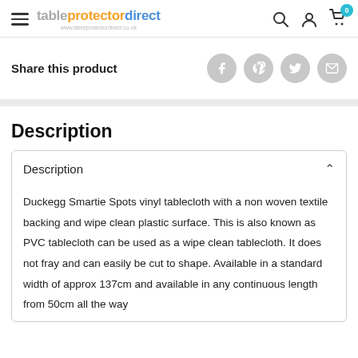tableprotectordirect - www.tableprotectordirect.co.uk
Share this product
Description
Description
Duckegg Smartie Spots vinyl tablecloth with a non woven textile backing and wipe clean plastic surface. This is also known as PVC tablecloth can be used as a wipe clean tablecloth. It does not fray and can easily be cut to shape. Available in a standard width of approx 137cm and available in any continuous length from 50cm all the way